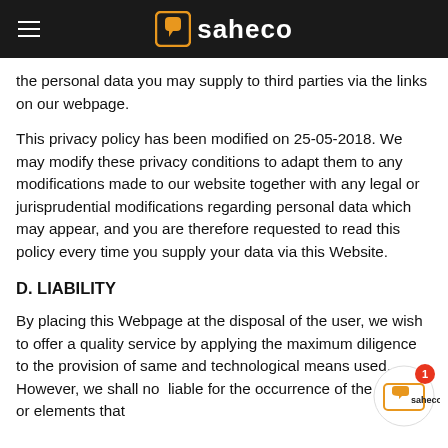saheco
the personal data you may supply to third parties via the links on our webpage.
This privacy policy has been modified on 25-05-2018. We may modify these privacy conditions to adapt them to any modifications made to our website together with any legal or jurisprudential modifications regarding personal data which may appear, and you are therefore requested to read this policy every time you supply your data via this Website.
D. LIABILITY
By placing this Webpage at the disposal of the user, we wish to offer a quality service by applying the maximum diligence to the provision of same and technological means used. However, we shall not liable for the occurrence of the errors or elements that